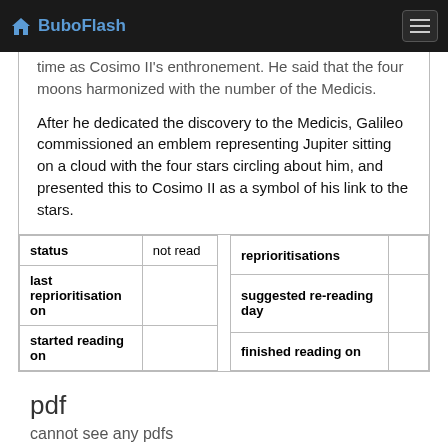BuboFlash
time as Cosimo II's enthronement. He said that the four moons harmonized with the number of the Medicis.
After he dedicated the discovery to the Medicis, Galileo commissioned an emblem representing Jupiter sitting on a cloud with the four stars circling about him, and presented this to Cosimo II as a symbol of his link to the stars.
| status | not read | reprioritisations |  |
| last reprioritisation on |  | suggested re-reading day |  |
| started reading on |  | finished reading on |  |
pdf
cannot see any pdfs